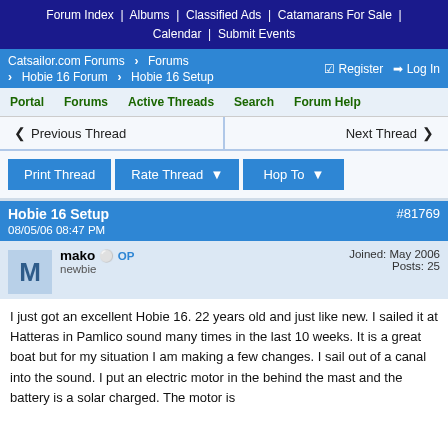Forum Index | Albums | Classified Ads | Catamarans For Sale | Calendar | Submit Events
Catsailor.com Forums > Forums > Hobie 16 Forum > Hobie 16 Setup | Register | Log In
Portal | Forums | Active Threads | Search | Forum Help
Previous Thread | Next Thread
Print Thread | Rate Thread | Hop To
Hobie 16 Setup #81769 08/05/06 08:47 PM
mako OP newbie | Joined: May 2006 | Posts: 25
I just got an excellent Hobie 16. 22 years old and just like new. I sailed it at Hatteras in Pamlico sound many times in the last 10 weeks. It is a great boat but for my situation I am making a few changes. I sail out of a canal into the sound. I put an electric motor in the behind the mast and the battery is a solar charged. The motor is